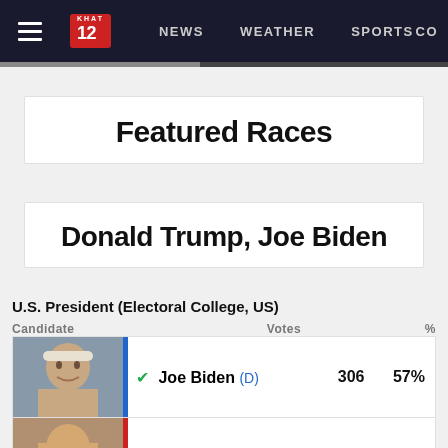NEWS  WEATHER  SPORTS  CO
Featured Races
Donald Trump, Joe Biden
U.S. President (Electoral College, US)
| Candidate | Votes | % |
| --- | --- | --- |
| Joe Biden (D) | 306 | 57% |